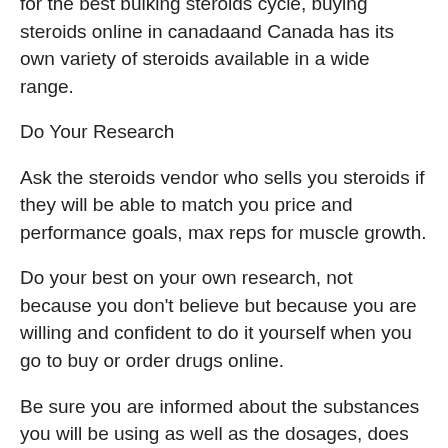for the best bulking steroids cycle, buying steroids online in canadaand Canada has its own variety of steroids available in a wide range.
Do Your Research
Ask the steroids vendor who sells you steroids if they will be able to match you price and performance goals, max reps for muscle growth.
Do your best on your own research, not because you don't believe but because you are willing and confident to do it yourself when you go to buy or order drugs online.
Be sure you are informed about the substances you will be using as well as the dosages, does bulking make you shorter. This is the time when the big money is made with online steroids, bulking agent in